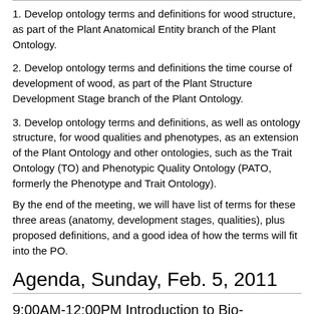1. Develop ontology terms and definitions for wood structure, as part of the Plant Anatomical Entity branch of the Plant Ontology.
2. Develop ontology terms and definitions the time course of development of wood, as part of the Plant Structure Development Stage branch of the Plant Ontology.
3. Develop ontology terms and definitions, as well as ontology structure, for wood qualities and phenotypes, as an extension of the Plant Ontology and other ontologies, such as the Trait Ontology (TO) and Phenotypic Quality Ontology (PATO, formerly the Phenotype and Trait Ontology).
By the end of the meeting, we will have list of terms for these three areas (anatomy, development stages, qualities), plus proposed definitions, and a good idea of how the terms will fit into the PO.
Agenda, Sunday, Feb. 5, 2011
9:00AM-12:00PM Introduction to Bio-ontologies - Public Session
This session will be open to people outside the meeting participants, and will be advertised to the wider scientific community.
If you are interested in attending this session, please contact Ramona